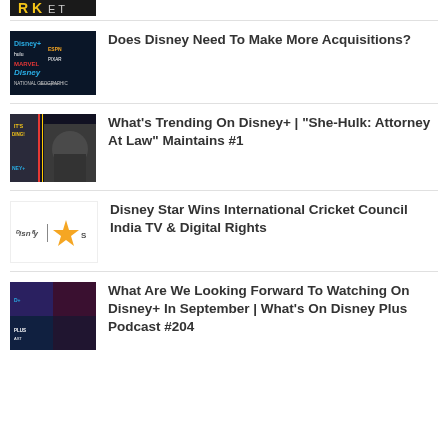[Figure (photo): Cropped top portion of an article thumbnail - dark background with letters visible]
[Figure (photo): Disney brand logos collage on dark background showing Disney, Marvel, Pixar, ESPN, National Geographic and other Disney subsidiaries]
Does Disney Need To Make More Acquisitions?
[Figure (photo): She-Hulk character on Disney+ trending page with dark background and Disney+ logo]
What's Trending On Disney+ | “She-Hulk: Attorney At Law” Maintains #1
[Figure (logo): Disney Star logo with star symbol on white background]
Disney Star Wins International Cricket Council India TV & Digital Rights
[Figure (photo): What's On Disney Plus Podcast thumbnail with Marvel characters collage]
What Are We Looking Forward To Watching On Disney+ In September | What’s On Disney Plus Podcast #204